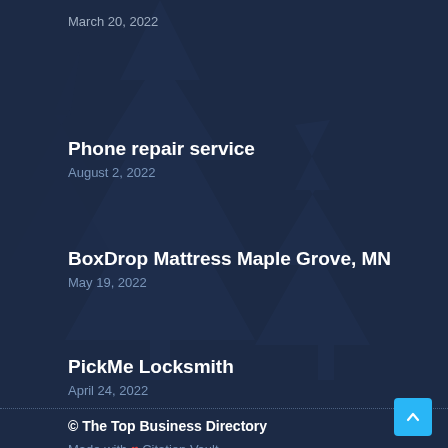March 20, 2022
Phone repair service
August 2, 2022
BoxDrop Mattress Maple Grove, MN
May 19, 2022
PickMe Locksmith
April 24, 2022
© The Top Business Directory
Made with ❤ Citation Vault